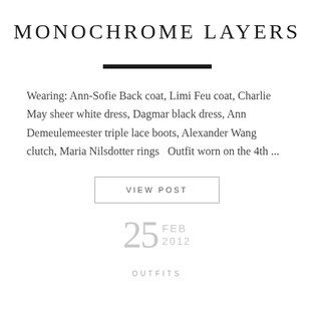MONOCHROME LAYERS
[Figure (other): Decorative horizontal dark bar divider]
Wearing: Ann-Sofie Back coat, Limi Feu coat, Charlie May sheer white dress, Dagmar black dress, Ann Demeulemeester triple lace boots, Alexander Wang clutch, Maria Nilsdotter rings  Outfit worn on the 4th ...
VIEW POST
25 FEB 2012
OUTFITS